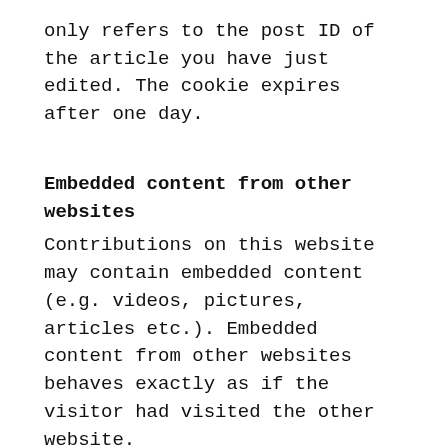only refers to the post ID of the article you have just edited. The cookie expires after one day.
Embedded content from other websites
Contributions on this website may contain embedded content (e.g. videos, pictures, articles etc.). Embedded content from other websites behaves exactly as if the visitor had visited the other website.
These sites may collect information about you, use cookies, embed additional third-party tracking services, and record your interaction with this embedded content, including your interaction with the embedded content if you have an account and are logged on to this site.